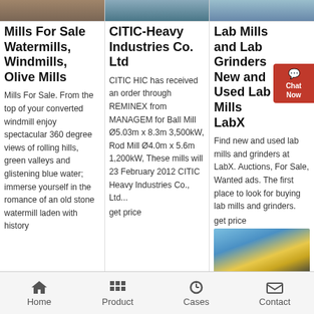[Figure (photo): Three small banner photos at top of page showing mills/industrial scenes]
Mills For Sale Watermills, Windmills, Olive Mills
Mills For Sale. From the top of your converted windmill enjoy spectacular 360 degree views of rolling hills, green valleys and glistening blue water; immerse yourself in the romance of an old stone watermill laden with history
CITIC-Heavy Industries Co. Ltd
CITIC HIC has received an order through REMINEX from MANAGEM for Ball Mill Ø5.03m x 8.3m 3,500kW, Rod Mill Ø4.0m x 5.6m 1,200kW, These mills will 23 February 2012 CITIC Heavy Industries Co., Ltd...
get price
Lab Mills and Lab Grinders New and Used Lab Mills LabX
Find new and used lab mills and grinders at LabX. Auctions, For Sale, Wanted ads. The first place to look for buying lab mills and grinders.
get price
[Figure (photo): Industrial conveyor or mining equipment photo, yellow machinery against blue sky]
Home   Product   Cases   Contact